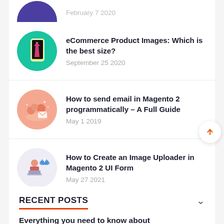[Figure (illustration): Partial top of a blog card with a purple circle thumbnail (partially visible) and grey date text 'February 7 2020']
eCommerce Product Images: Which is the best size?
September 25 2020
How to send email in Magento 2 programmatically – A Full Guide
May 1 2019
How to Create an Image Uploader in Magento 2 UI Form
May 27 2021
RECENT POSTS
Everything you need to know about